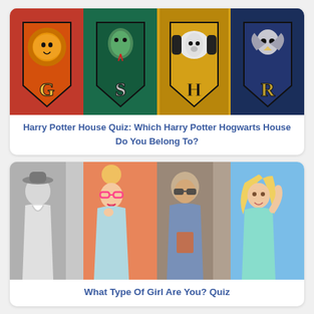[Figure (illustration): Composite of four Harry Potter Hogwarts house crests: Gryffindor (lion, red/orange), Slytherin (snake, green), Hufflepuff (badger, yellow/black), Ravenclaw (eagle, blue/navy)]
Harry Potter House Quiz: Which Harry Potter Hogwarts House Do You Belong To?
[Figure (photo): Composite of four women representing different personality types: black-and-white glamour photo, colorful nerdy girl with pink glasses on orange background, edgy girl with sunglasses in denim jacket, sporty blonde girl jogging outdoors]
What Type Of Girl Are You? Quiz